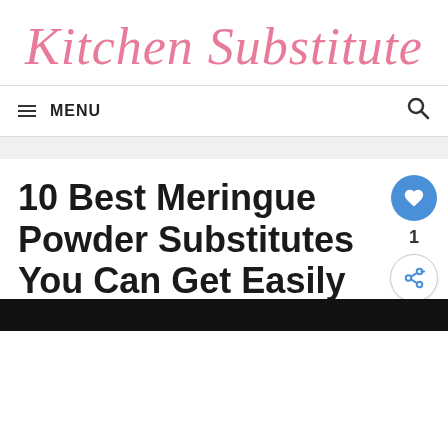Kitchen Substitute
MENU
10 Best Meringue Powder Substitutes You Can Get Easily
By Jennifer Schlette | Last Updated: September 10, 2021